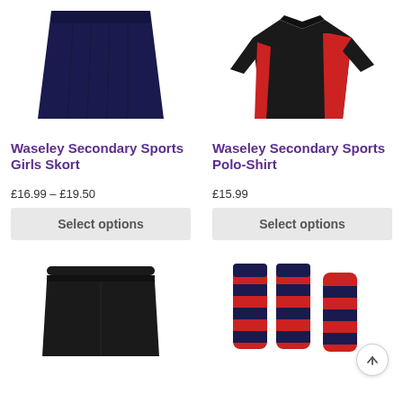[Figure (photo): Navy blue girls sports skort product photo on white background]
[Figure (photo): Black and red sports polo shirt product photo on white background]
Waseley Secondary Sports Girls Skort
Waseley Secondary Sports Polo-Shirt
£16.99 – £19.50
£15.99
Select options
Select options
[Figure (photo): Black sports shorts/skort product photo on white background]
[Figure (photo): Red and navy striped sports socks product photo on white background]